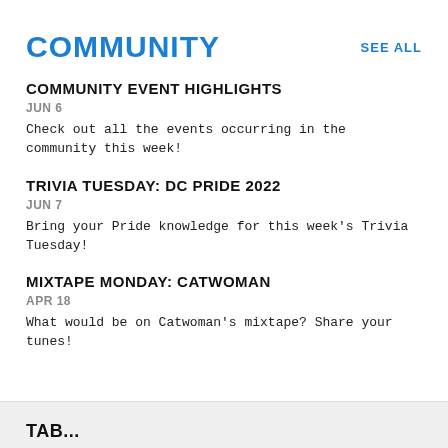COMMUNITY
SEE ALL
COMMUNITY EVENT HIGHLIGHTS
JUN 6
Check out all the events occurring in the community this week!
TRIVIA TUESDAY: DC PRIDE 2022
JUN 7
Bring your Pride knowledge for this week's Trivia Tuesday!
MIXTAPE MONDAY: CATWOMAN
APR 18
What would be on Catwoman's mixtape? Share your tunes!
Tab...